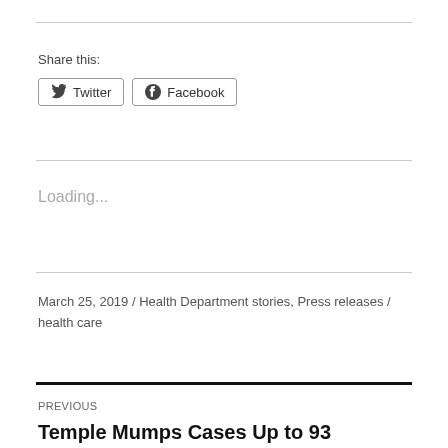Share this:
Twitter  Facebook
Loading...
March 25, 2019 / Health Department stories, Press releases / health care
PREVIOUS
Temple Mumps Cases Up to 93